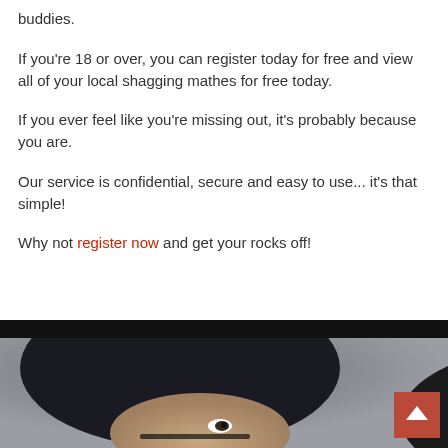buddies.
If you're 18 or over, you can register today for free and view all of your local shagging mathes for free today.
If you ever feel like you're missing out, it's probably because you are.
Our service is confidential, secure and easy to use... it's that simple!
Why not register now and get your rocks off!
[Figure (photo): Dark-haired person peeking over a dark surface, with a back-to-top button overlay in the bottom right corner]